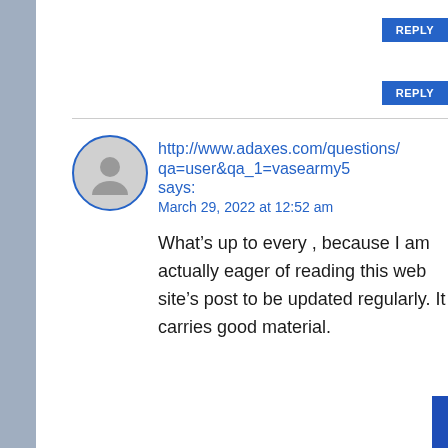REPLY
http://www.adaxes.com/questions/qa=user&qa_1=vasearmy5 says:
March 29, 2022 at 12:52 am
What’s up to every , because I am actually eager of reading this web site’s post to be updated regularly. It carries good material.
REPLY